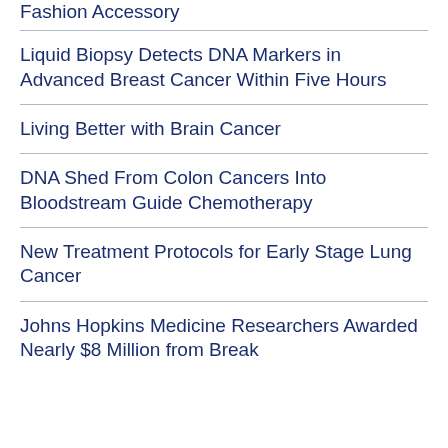Fashion Accessory
Liquid Biopsy Detects DNA Markers in Advanced Breast Cancer Within Five Hours
Living Better with Brain Cancer
DNA Shed From Colon Cancers Into Bloodstream Guide Chemotherapy
New Treatment Protocols for Early Stage Lung Cancer
Johns Hopkins Medicine Researchers Awarded Nearly $8 Million from Break